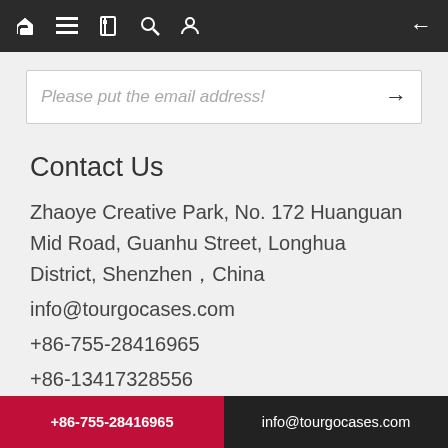Navigation bar with home, menu, book, search, profile icons and back arrow
Please put the email address!
Contact Us
Zhaoye Creative Park, No. 172 Huanguan Mid Road, Guanhu Street, Longhua District, Shenzhen，China
info@tourgocases.com
+86-755-28416965
+86-13417328556
+86-755-23088945
WeChat: +8613417328556
Whatsapp: +8615815567379
+86-755-28416965   info@tourgocases.com